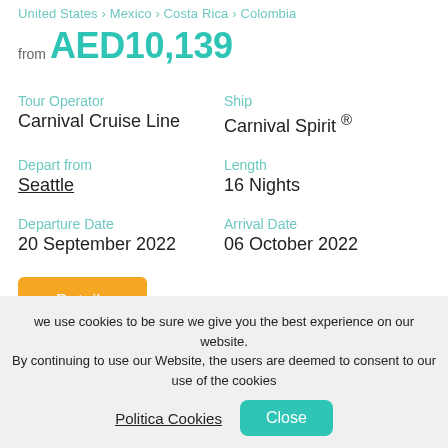United States > Mexico > Costa Rica > Colombia
from AED10,139
Tour Operator: Carnival Cruise Line
Ship: Carnival Spirit ®
Depart from: Seattle
Length: 16 Nights
Departure Date: 20 September 2022
Arrival Date: 06 October 2022
Details
we use cookies to be sure we give you the best experience on our website. By continuing to use our Website, the users are deemed to consent to our use of the cookies
Politica Cookies
Close